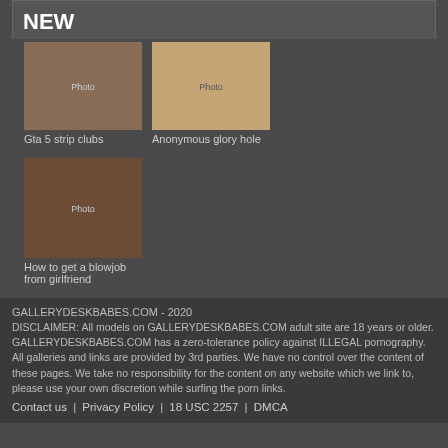NEW
[Figure (photo): Thumbnail image: Gta 5 strip clubs]
Gta 5 strip clubs
[Figure (photo): Thumbnail image: Anonymous glory hole]
Anonymous glory hole
[Figure (photo): Thumbnail image: How to get a blowjob from girlfriend]
How to get a blowjob from girlfriend
GALLERYDESKBABES.COM - 2020
DISCLAIMER: All models on GALLERYDESKBABES.COM adult site are 18 years or older. GALLERYDESKBABES.COM has a zero-tolerance policy against ILLEGAL pornography. All galleries and links are provided by 3rd parties. We have no control over the content of these pages. We take no responsibility for the content on any website which we link to, please use your own discretion while surfing the porn links.
Contact us | Privacy Policy | 18 USC 2257 | DMCA